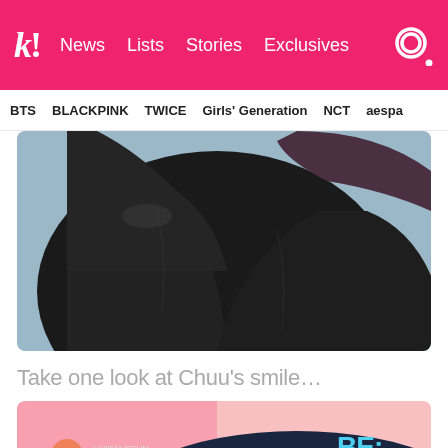k! News  Lists  Stories  Exclusives
BTS  BLACKPINK  TWICE  Girls' Generation  NCT  aespa
[Figure (photo): Person wearing a dark black hoodie/jacket, partially cropped, blurred background]
Take one look at Chuu's smile…
[Figure (photo): Person wearing dark navy hoodie with 'BE:' text graphic, pink background, orange numbered badge showing 10]